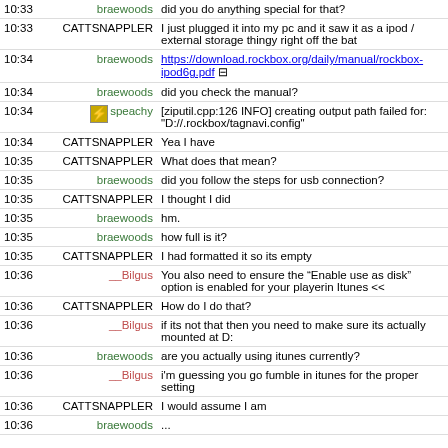| Time | User | Message |
| --- | --- | --- |
| 10:33 | braewoods | did you do anything special for that? |
| 10:33 | CATTSNAPPLER | I just plugged it into my pc and it saw it as a ipod / external storage thingy right off the bat |
| 10:34 | braewoods | https://download.rockbox.org/daily/manual/rockbox-ipod6g.pdf |
| 10:34 | braewoods | did you check the manual? |
| 10:34 | speachy | [ziputil.cpp:126 INFO] creating output path failed for: "D://.rockbox/tagnavi.config" |
| 10:34 | CATTSNAPPLER | Yea I have |
| 10:35 | CATTSNAPPLER | What does that mean? |
| 10:35 | braewoods | did you follow the steps for usb connection? |
| 10:35 | CATTSNAPPLER | I thought I did |
| 10:35 | braewoods | hm. |
| 10:35 | braewoods | how full is it? |
| 10:35 | CATTSNAPPLER | I had formatted it so its empty |
| 10:36 | __Bilgus | You also need to ensure the “Enable use as disk” option is enabled for your playerin Itunes << |
| 10:36 | CATTSNAPPLER | How do I do that? |
| 10:36 | __Bilgus | if its not that then you need to make sure its actually mounted at D: |
| 10:36 | braewoods | are you actually using itunes currently? |
| 10:36 | __Bilgus | i'm guessing you go fumble in itunes for the proper setting |
| 10:36 | CATTSNAPPLER | I would assume I am |
| 10:36 | braewoods | ... |